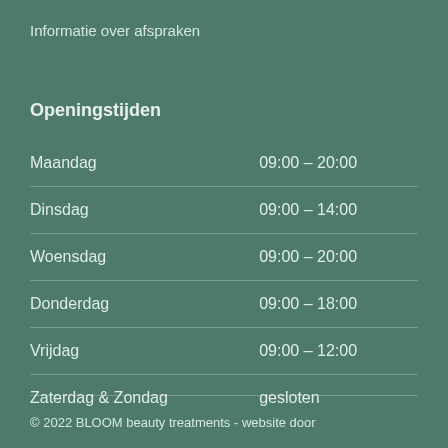Informatie over afspraken
Openingstijden
| Dag | Tijd |
| --- | --- |
| Maandag | 09:00 – 20:00 |
| Dinsdag | 09:00 – 14:00 |
| Woensdag | 09:00 – 20:00 |
| Donderdag | 09:00 – 18:00 |
| Vrijdag | 09:00 – 12:00 |
| Zaterdag & Zondag | gesloten |
© 2022 BLOOM beauty treatments - website door